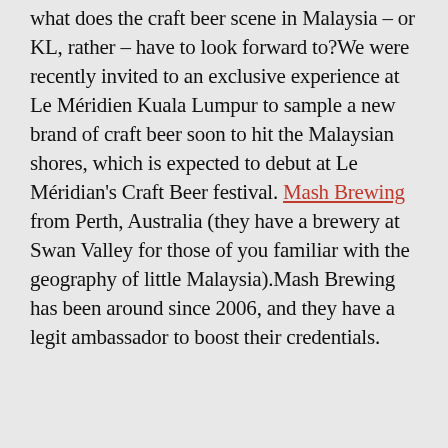what does the craft beer scene in Malaysia – or KL, rather – have to look forward to?We were recently invited to an exclusive experience at Le Méridien Kuala Lumpur to sample a new brand of craft beer soon to hit the Malaysian shores, which is expected to debut at Le Méridian's Craft Beer festival. Mash Brewing from Perth, Australia (they have a brewery at Swan Valley for those of you familiar with the geography of little Malaysia).Mash Brewing has been around since 2006, and they have a legit ambassador to boost their credentials.